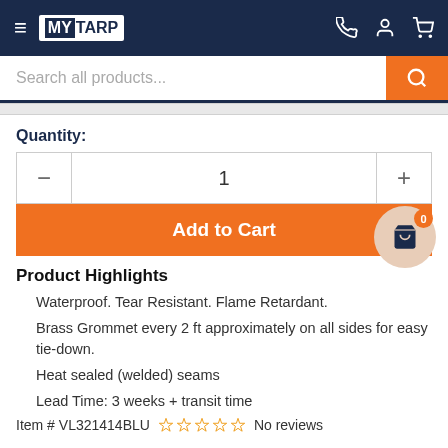MY TARP
Search all products...
Quantity:
1
Add to Cart
Product Highlights
Waterproof. Tear Resistant. Flame Retardant.
Brass Grommet every 2 ft approximately on all sides for easy tie-down.
Heat sealed (welded) seams
Lead Time: 3 weeks + transit time
Item # VL321414BLU  No reviews